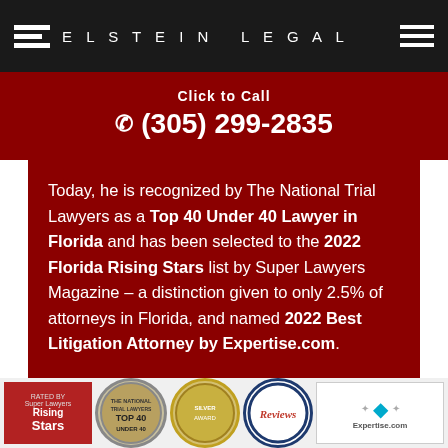ELSTEIN LEGAL
Click to Call
(305) 299-2835
Today, he is recognized by The National Trial Lawyers as a Top 40 Under 40 Lawyer in Florida and has been selected to the 2022 Florida Rising Stars list by Super Lawyers Magazine – a distinction given to only 2.5% of attorneys in Florida, and named 2022 Best Litigation Attorney by Expertise.com.
[Figure (logo): Row of award badges: Rising Stars by Super Lawyers, The National Trial Lawyers Top 40, silver/gold medallion badge, Reviews circular badge, Expertise.com badge]